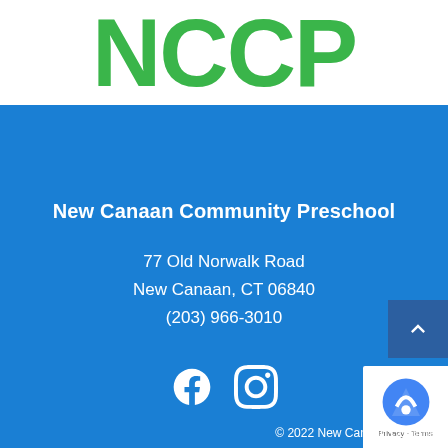[Figure (logo): NCCP logo — large bold green letters on white background]
New Canaan Community Preschool
77 Old Norwalk Road
New Canaan, CT 06840
(203) 966-3010
[Figure (illustration): Facebook and Instagram social media icons in white]
© 2022 New Canaan Community Preschool | Site by nurenu